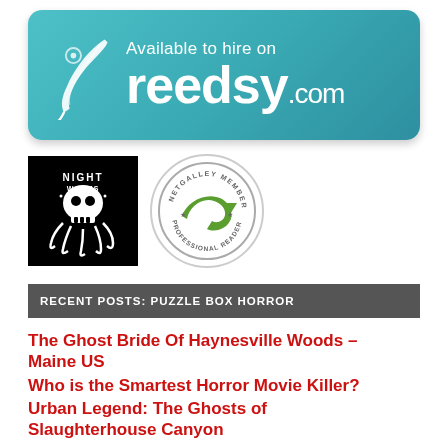[Figure (logo): Reedsy.com 'Available to hire on reedsy.com' banner in teal/blue with white feather quill logo and white text]
[Figure (logo): Night Worms logo — black square with skull and tentacles illustration]
[Figure (logo): NetGalley Member Professional Reader circular badge in green and grey]
RECENT POSTS: PUZZLE BOX HORROR
The Ghost Bride Of Haynesville Woods – Maine US
Who is the Smartest Horror Movie Killer?
Urban Legend: The Ghosts of Slaughterhouse Canyon